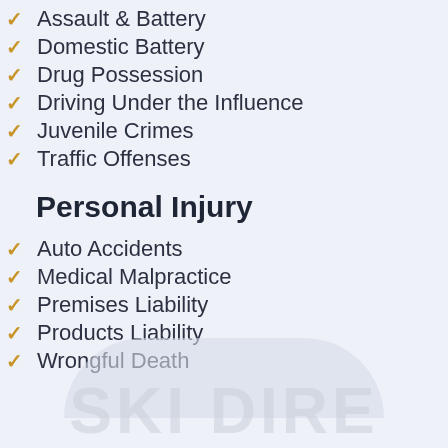Assault & Battery
Domestic Battery
Drug Possession
Driving Under the Influence
Juvenile Crimes
Traffic Offenses
Personal Injury
Auto Accidents
Medical Malpractice
Premises Liability
Products Liability
Wrongful Death